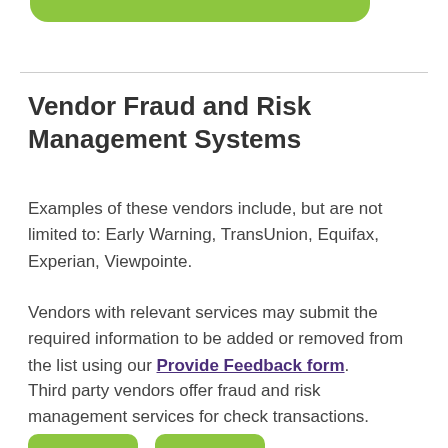[Figure (other): Green rounded rectangle bar at top of page]
Vendor Fraud and Risk Management Systems
Examples of these vendors include, but are not limited to: Early Warning, TransUnion, Equifax, Experian, Viewpointe.
Vendors with relevant services may submit the required information to be added or removed from the list using our Provide Feedback form.
Third party vendors offer fraud and risk management services for check transactions.
[Figure (other): Two green rounded rectangle buttons at bottom of page]